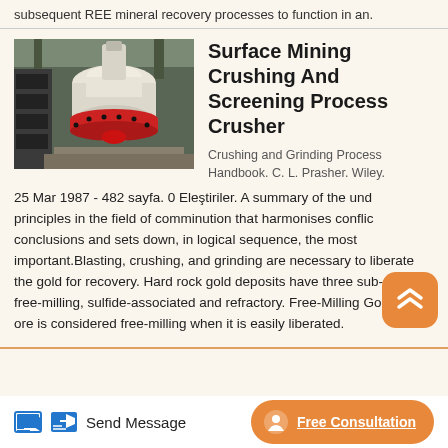subsequent REE mineral recovery processes to function in an.
[Figure (photo): Industrial cone crusher machine photographed indoors in a warehouse/factory setting. The crusher is cream/white colored with a red ring around its base, mounted on dark machinery.]
Surface Mining Crushing And Screening Process Crusher
Crushing and Grinding Process Handbook. C. L. Prasher. Wiley.
25 Mar 1987 - 482 sayfa. 0 Eleştiriler. A summary of the underlying principles in the field of comminution that harmonises conflicting conclusions and sets down, in logical sequence, the most important.Blasting, crushing, and grinding are necessary to liberate the gold for recovery. Hard rock gold deposits have three sub-classes free-milling, sulfide-associated and refractory. Free-Milling Gold. Gold ore is considered free-milling when it is easily liberated.
Send Message   Free Consultation